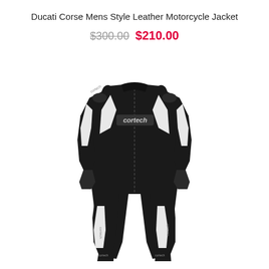Ducati Corse Mens Style Leather Motorcycle Jacket
$300.00 $210.00
[Figure (photo): Black and white Cortech one-piece leather motorcycle racing suit, front view, headless mannequin display with white accent panels and Cortech branding on chest and legs]